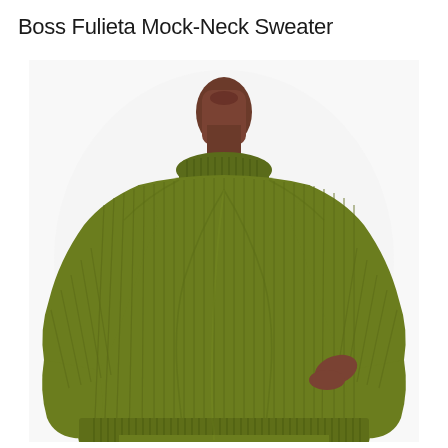Boss Fulieta Mock-Neck Sweater
[Figure (photo): A woman wearing an olive green ribbed mock-neck sweater with long sleeves. The sweater features a close-fitting ribbed knit texture throughout the body and sleeves. The model is photographed from the chin down against a white background, showing the full length of the sweater which extends to mid-thigh. A matching ribbed skirt is partially visible at the bottom.]